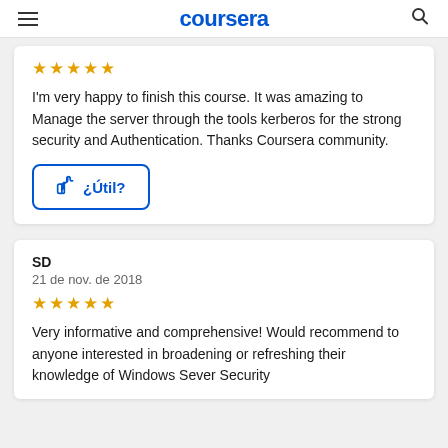coursera
I'm very happy to finish this course. It was amazing to Manage the server through the tools kerberos for the strong security and Authentication. Thanks Coursera community.
¿Útil?
SD
21 de nov. de 2018
Very informative and comprehensive! Would recommend to anyone interested in broadening or refreshing their knowledge of Windows Sever Security